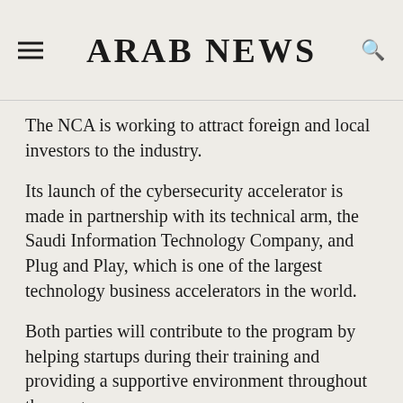ARAB NEWS
The NCA is working to attract foreign and local investors to the industry.
Its launch of the cybersecurity accelerator is made in partnership with its technical arm, the Saudi Information Technology Company, and Plug and Play, which is one of the largest technology business accelerators in the world.
Both parties will contribute to the program by helping startups during their training and providing a supportive environment throughout the program.